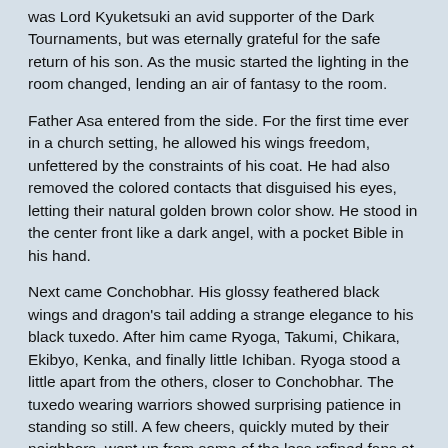was Lord Kyuketsuki an avid supporter of the Dark Tournaments, but was eternally grateful for the safe return of his son. As the music started the lighting in the room changed, lending an air of fantasy to the room.
Father Asa entered from the side. For the first time ever in a church setting, he allowed his wings freedom, unfettered by the constraints of his coat. He had also removed the colored contacts that disguised his eyes, letting their natural golden brown color show. He stood in the center front like a dark angel, with a pocket Bible in his hand.
Next came Conchobhar. His glossy feathered black wings and dragon's tail adding a strange elegance to his black tuxedo. After him came Ryoga, Takumi, Chikara, Ekibyo, Kenka, and finally little Ichiban. Ryoga stood a little apart from the others, closer to Conchobhar. The tuxedo wearing warriors showed surprising patience in standing so still. A few cheers, quickly muted by their neighbors, went up from some of the less refined fans at the appearance of the group.
When the groom's men took their places at the front, two garuda guards opened the doors at the back of the hall. Taki the ameonna began walking up the white and gold carpet that ran up the center of the hall, holding a bouquet of white lotus flowers and pale pink orchids. Her silvery blue hair and golden silk dress fluttered a bit as she walked. Many of the male yokai frankly, but silently, ogled her full figure. After her came the kodama, Yanagi, her leafy green hair hanging down gracefully like her willow